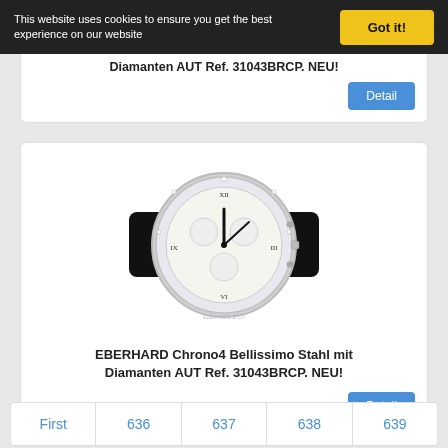This website uses cookies to ensure you get the best experience on our website
Got it!
Diamanten AUT Ref. 31043BRCP. NEU!
Detail
[Figure (photo): EBERHARD Chrono4 Bellissimo watch with white dial, Roman numerals, diamond bezel, and black leather strap]
EBERHARD Chrono4 Bellissimo Stahl mit Diamanten AUT Ref. 31043BRCP. NEU!
Detail
First
636
637
638
639